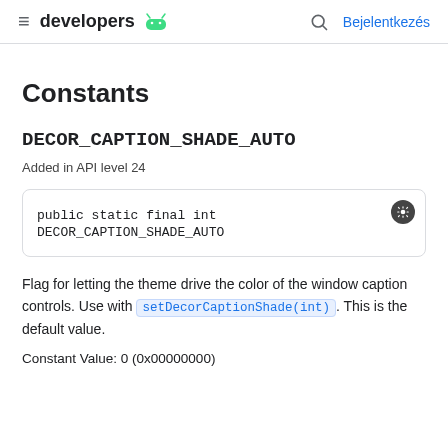developers  Bejelentkezés
Constants
DECOR_CAPTION_SHADE_AUTO
Added in API level 24
public static final int DECOR_CAPTION_SHADE_AUTO
Flag for letting the theme drive the color of the window caption controls. Use with setDecorCaptionShade(int) . This is the default value.
Constant Value: 0 (0x00000000)